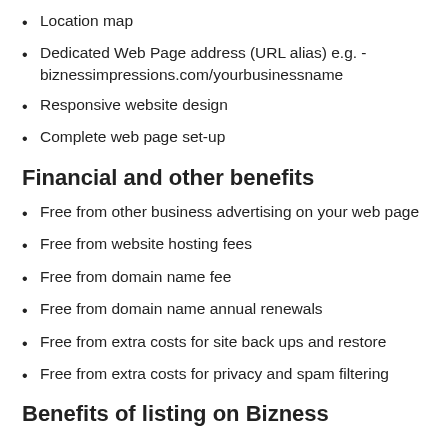Location map
Dedicated Web Page address (URL alias) e.g. - biznessimpressions.com/yourbusinessname
Responsive website design
Complete web page set-up
Financial and other benefits
Free from other business advertising on your web page
Free from website hosting fees
Free from domain name fee
Free from domain name annual renewals
Free from extra costs for site back ups and restore
Free from extra costs for privacy and spam filtering
Benefits of listing on Bizness